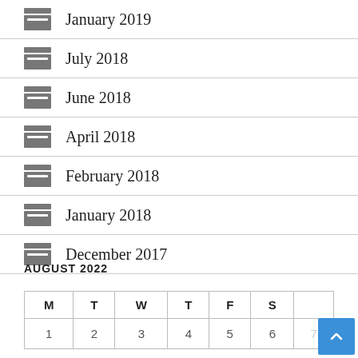January 2019
July 2018
June 2018
April 2018
February 2018
January 2018
December 2017
AUGUST 2022
| M | T | W | T | F | S |  |
| --- | --- | --- | --- | --- | --- | --- |
| 1 | 2 | 3 | 4 | 5 | 6 | 7 |